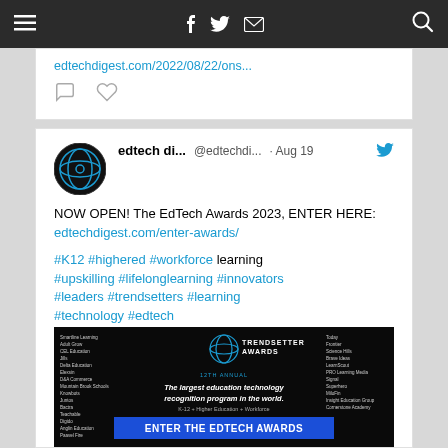Navigation bar with hamburger menu, social icons (Facebook, Twitter, Email), and search icon
edtechdigest.com/2022/08/22/ons...
[Figure (screenshot): Tweet from edtech di... (@edtechdi...) on Aug 19. Text: NOW OPEN! The EdTech Awards 2023, ENTER HERE: edtechdigest.com/enter-awards/ #K12 #highered #workforce learning #upskilling #lifolonglearning #innovators #leaders #trendsetters #learning #technology #edtech. Includes image of EdTech Trendsetter Awards promotional banner saying 'ENTER THE EDTECH AWARDS - The largest education technology recognition program in the world. K-12 + Higher Education + Workforce']